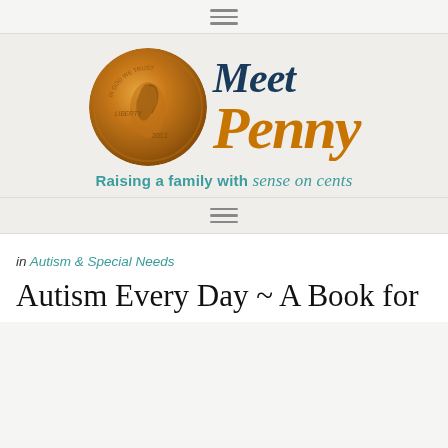≡
[Figure (logo): Meet Penny blog logo with a penny coin on the left, 'Meet Penny' script text on the right, and tagline 'Raising a family with sense on cents' below]
≡
in Autism & Special Needs
Autism Every Day ~ A Book for